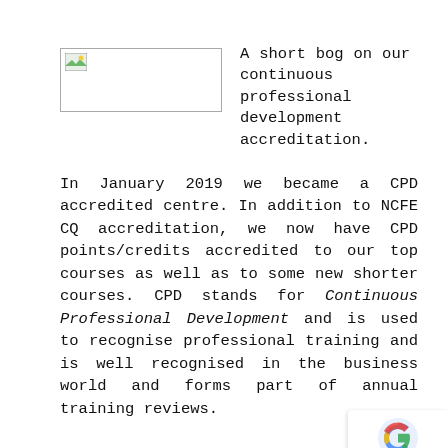[Figure (photo): A placeholder image box with a small landscape icon in the top-left corner, bordered rectangle]
A short bog on our continuous professional development accreditation.
In January 2019 we became a CPD accredited centre. In addition to NCFE CQ accreditation, we now have CPD points/credits accredited to our top courses as well as to some new shorter courses. CPD stands for Continuous Professional Development and is used to recognise professional training and is well recognised in the business world and forms part of annual training reviews.